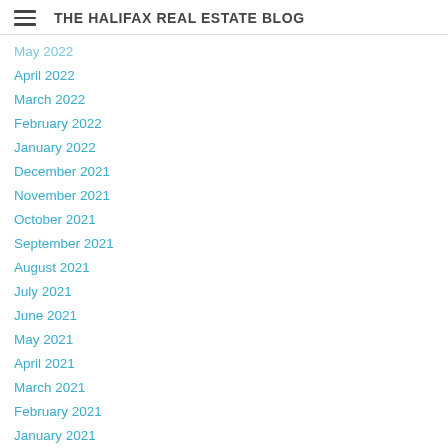THE HALIFAX REAL ESTATE BLOG
May 2022
April 2022
March 2022
February 2022
January 2022
December 2021
November 2021
October 2021
September 2021
August 2021
July 2021
June 2021
May 2021
April 2021
March 2021
February 2021
January 2021
December 2020